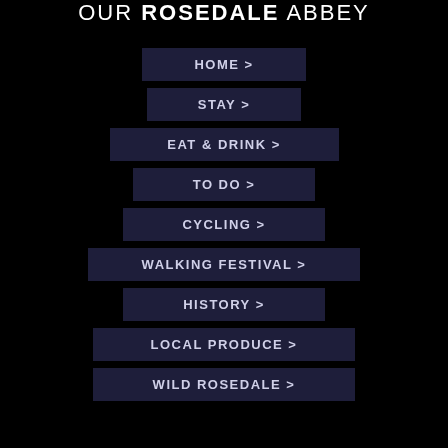OUR ROSEDALE ABBEY
HOME >
STAY >
EAT & DRINK >
TO DO >
CYCLING >
WALKING FESTIVAL >
HISTORY >
LOCAL PRODUCE >
WILD ROSEDALE >